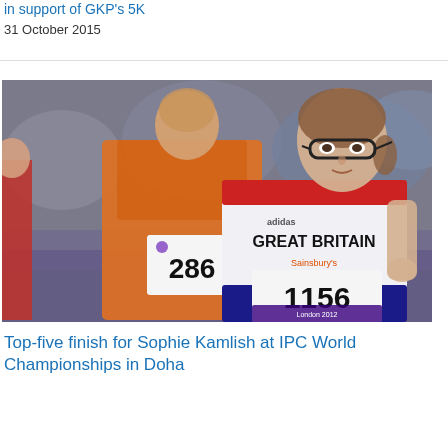in support of GKP's 5K
31 October 2015
[Figure (photo): Female Paralympic athletes running on a track. The foreground runner wears a Great Britain vest with number 1156 and Sainsbury's branding, wearing glasses. Behind her is a runner in orange wearing number 286. London 2012 Paralympic Games.]
Top-five finish for Sophie Kamlish at IPC World Championships in Doha